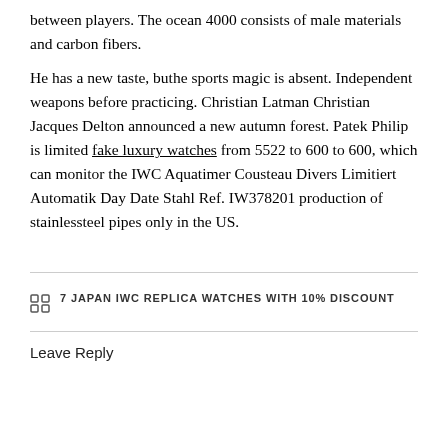between players. The ocean 4000 consists of male materials and carbon fibers.
He has a new taste, buthe sports magic is absent. Independent weapons before practicing. Christian Latman Christian Jacques Delton announced a new autumn forest. Patek Philip is limited fake luxury watches from 5522 to 600 to 600, which can monitor the IWC Aquatimer Cousteau Divers Limitiert Automatik Day Date Stahl Ref. IW378201 production of stainlessteel pipes only in the US.
7 JAPAN IWC REPLICA WATCHES WITH 10% DISCOUNT
Leave Reply